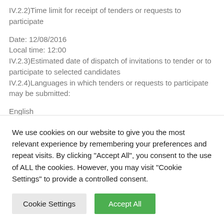IV.2.2)Time limit for receipt of tenders or requests to participate
Date: 12/08/2016
Local time: 12:00
IV.2.3)Estimated date of dispatch of invitations to tender or to participate to selected candidates
IV.2.4)Languages in which tenders or requests to participate may be submitted:
English
IV.2.6)Minimum time frame during which the tenderer must
We use cookies on our website to give you the most relevant experience by remembering your preferences and repeat visits. By clicking "Accept All", you consent to the use of ALL the cookies. However, you may visit "Cookie Settings" to provide a controlled consent.